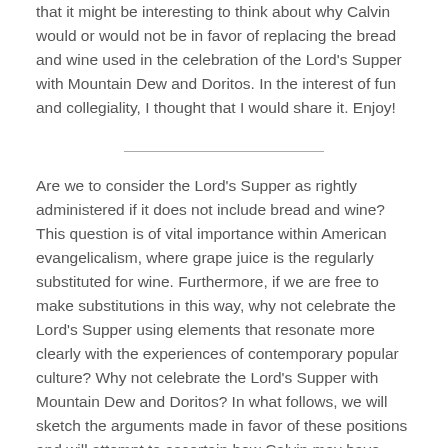that it might be interesting to think about why Calvin would or would not be in favor of replacing the bread and wine used in the celebration of the Lord's Supper with Mountain Dew and Doritos. In the interest of fun and collegiality, I thought that I would share it. Enjoy!
Are we to consider the Lord's Supper as rightly administered if it does not include bread and wine? This question is of vital importance within American evangelicalism, where grape juice is the regularly substituted for wine. Furthermore, if we are free to make substitutions in this way, why not celebrate the Lord's Supper using elements that resonate more clearly with the experiences of contemporary popular culture? Why not celebrate the Lord's Supper with Mountain Dew and Doritos? In what follows, we will sketch the arguments made in favor of these positions and will attempt to ascertain how Calvin may have responded to these arguments were he ever faced with them.